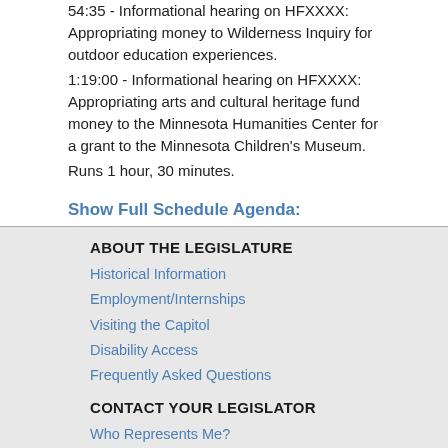54:35 - Informational hearing on HFXXXX: Appropriating money to Wilderness Inquiry for outdoor education experiences.
1:19:00 - Informational hearing on HFXXXX: Appropriating arts and cultural heritage fund money to the Minnesota Humanities Center for a grant to the Minnesota Children's Museum.
Runs 1 hour, 30 minutes.
Show Full Schedule Agenda:
ABOUT THE LEGISLATURE
Historical Information
Employment/Internships
Visiting the Capitol
Disability Access
Frequently Asked Questions
CONTACT YOUR LEGISLATOR
Who Represents Me?
House Members
Senators